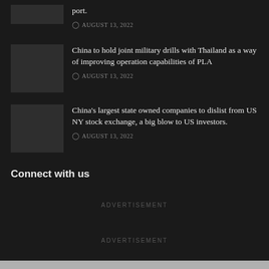port.
AUGUST 13, 2022
China to hold joint military drills with Thailand as a way of improving operation capabilities of PLA
AUGUST 13, 2022
China's largest state owned companies to dislist from US NY stock exchange, a big blow to US investors.
AUGUST 13, 2022
Connect with us
ADVERTISEMENT
ADVERTISEMENT